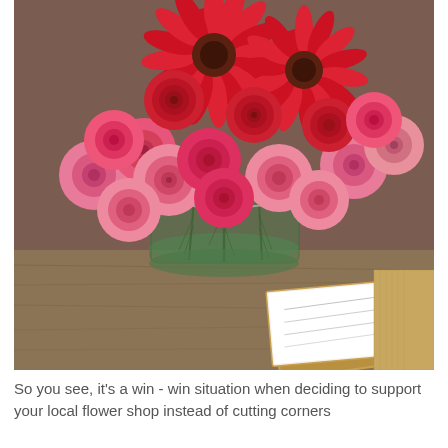[Figure (photo): A lush floral arrangement of pink and red roses, ranunculus, and gerbera daisies in a cylindrical glass vase lined with large green leaves, placed on a wooden surface alongside a decorative greeting card and a woven mat.]
So you see, it's a win - win situation when deciding to support your local flower shop instead of cutting corners